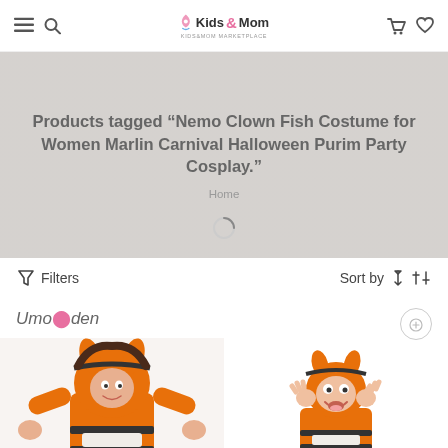Kids Mom — navigation header with hamburger menu, search, logo, cart and wishlist icons
Products tagged “Nemo Clown Fish Costume for Women Marlin Carnival Halloween Purim Party Cosplay.”
Home
Filters
Sort by
[Figure (screenshot): E-commerce product listing page showing Nemo Clown Fish costumes. Left product: woman wearing orange and white clownfish onesie costume with hood. Right product: child wearing similar orange clownfish costume. Brand: Umorden.]